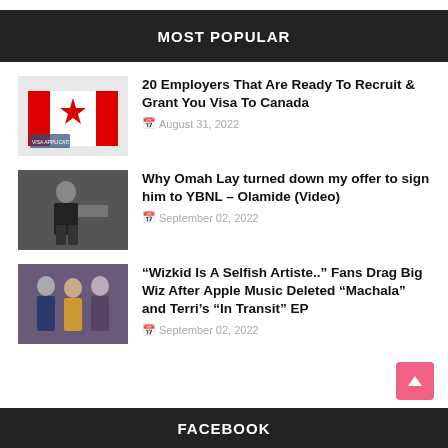MOST POPULAR
[Figure (photo): Canada flag and visa application documents]
20 Employers That Are Ready To Recruit & Grant You Visa To Canada
August 31, 2022
[Figure (photo): Olamide walking on street in dark outfit]
Why Omah Lay turned down my offer to sign him to YBNL – Olamide (Video)
September 02, 2022
[Figure (photo): Wizkid and others posing for photo]
“Wizkid Is A Selfish Artiste..” Fans Drag Big Wiz After Apple Music Deleted “Machala” and Terri’s “In Transit” EP
September 02, 2022
FACEBOOK